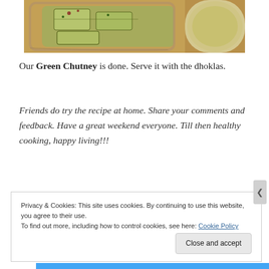[Figure (photo): Photo of dhokla pieces on a plate served with green chutney in a small bowl, on a wooden surface]
Our Green Chutney is done. Serve it with the dhoklas.
Friends do try the recipe at home. Share your comments and feedback. Have a great weekend everyone. Till then healthy cooking, happy living!!!
Privacy & Cookies: This site uses cookies. By continuing to use this website, you agree to their use.
To find out more, including how to control cookies, see here: Cookie Policy
Close and accept